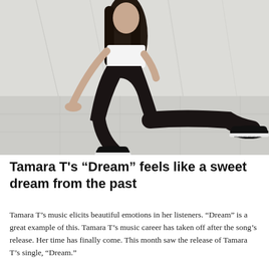[Figure (photo): Young woman with long dark hair wearing a white crop top and black pants with black Miu Miu sneakers, sitting on a marble floor against a marble wall background.]
Tamara T's “Dream” feels like a sweet dream from the past
Tamara T’s music elicits beautiful emotions in her listeners. “Dream” is a great example of this. Tamara T’s music career has taken off after the song’s release. Her time has finally come. This month saw the release of Tamara T’s single, “Dream.”